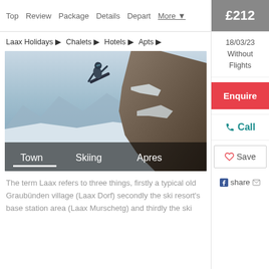Top | Review | Package | Details | Depart | More ▼ | £212
Laax Holidays ▶
Chalets ▶
Hotels ▶
Apts ▶
18/03/23 Without Flights
[Figure (photo): Snowboarder airborne over snowy mountain cliffs with panoramic alpine landscape. Overlay tabs show Town, Skiing, Apres with Town underlined.]
The term Laax refers to three things, firstly a typical old Graubünden village (Laax Dorf) secondly the ski resort's base station area (Laax Murschetg) and thirdly the ski